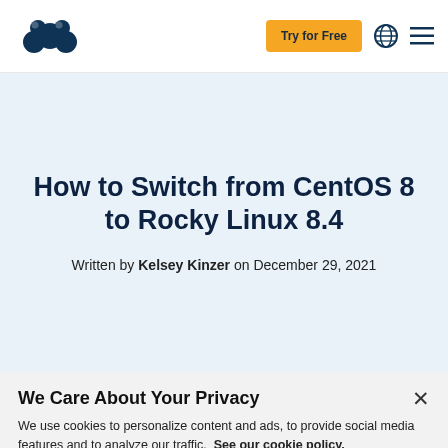Try for Free
How to Switch from CentOS 8 to Rocky Linux 8.4
Written by Kelsey Kinzer on December 29, 2021
We Care About Your Privacy
We use cookies to personalize content and ads, to provide social media features and to analyze our traffic. See our cookie policy.